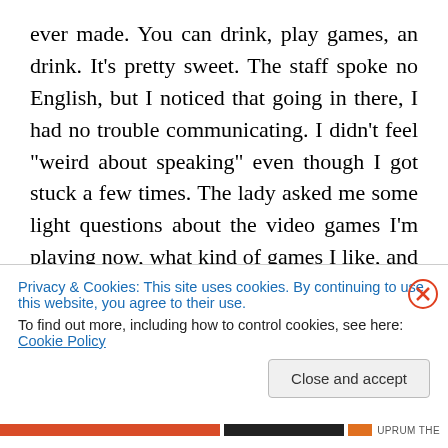ever made. You can drink, play games, an drink. It's pretty sweet. The staff spoke no English, but I noticed that going in there, I had no trouble communicating. I didn't feel "weird about speaking" even though I got stuck a few times. The lady asked me some light questions about the video games I'm playing now, what kind of games I like, and if I wanted to drink something. I told her I was okay for the moment, but I live nearby. I also mentioned that I have a web series and I'd like to make a video. Then she said she'd ask the store owner later, and told me to call back to confirm. This entire conversation was in Japanese, and
Privacy & Cookies: This site uses cookies. By continuing to use this website, you agree to their use.
To find out more, including how to control cookies, see here: Cookie Policy
Close and accept